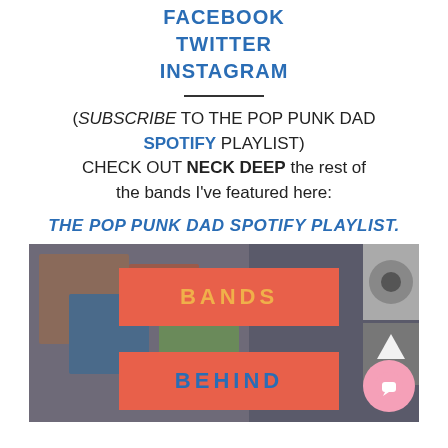FACEBOOK
TWITTER
INSTAGRAM
(SUBSCRIBE TO THE POP PUNK DAD SPOTIFY PLAYLIST)
CHECK OUT NECK DEEP the rest of the bands I've featured here:
THE POP PUNK DAD SPOTIFY PLAYLIST.
[Figure (photo): Collage image showing music albums and headphones with two overlapping coral/red banner overlays reading BANDS and BEHIND, plus a gray arrow up button and a pink chat bubble button on the right side.]